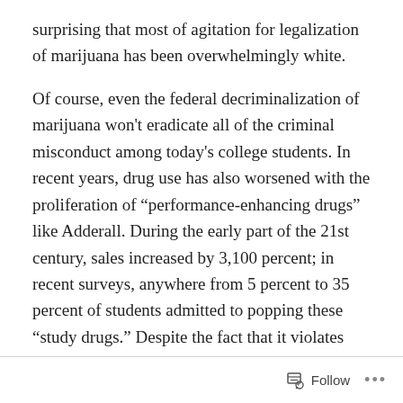surprising that most of agitation for legalization of marijuana has been overwhelmingly white.
Of course, even the federal decriminalization of marijuana won't eradicate all of the criminal misconduct among today's college students. In recent years, drug use has also worsened with the proliferation of “performance-enhancing drugs” like Adderall. During the early part of the 21st century, sales increased by 3,100 percent; in recent surveys, anywhere from 5 percent to 35 percent of students admitted to popping these “study drugs.” Despite the fact that it violates federal drug laws, students regularly secure Adderall with little fear of punishment.
Continue reading at Preventing the Rise of Pothead U. –
Follow ...